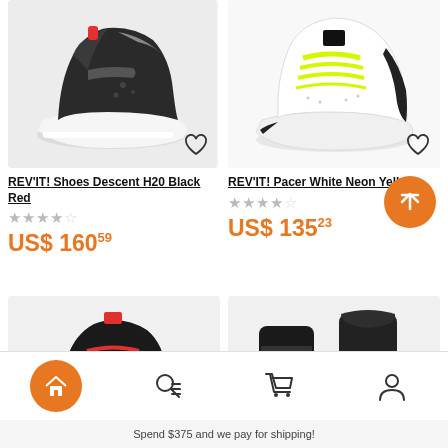[Figure (photo): Black motorcycle shoe/boot - REV'IT! Shoes Descent H20 Black Red, top-left product image]
REV'IT! Shoes Descent H20 Black Red
★★★★☆
US$ 160.59
[Figure (photo): White and neon yellow high-top motorcycle shoe - REV'IT! Pacer White Neon Yellow, top-right product image]
REV'IT! Pacer White Neon Yellow
★★★★☆
US$ 135.23
[Figure (photo): Black motorcycle boot with red accents - bottom left product image]
[Figure (photo): Black motorcycle boots pair - bottom right product image]
Spend $375 and we pay for shipping!